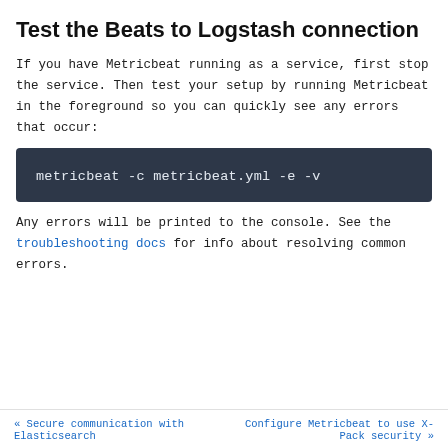Test the Beats to Logstash connection
If you have Metricbeat running as a service, first stop the service. Then test your setup by running Metricbeat in the foreground so you can quickly see any errors that occur:
metricbeat -c metricbeat.yml -e -v
Any errors will be printed to the console. See the troubleshooting docs for info about resolving common errors.
« Secure communication with Elasticsearch     Configure Metricbeat to use X-Pack security »